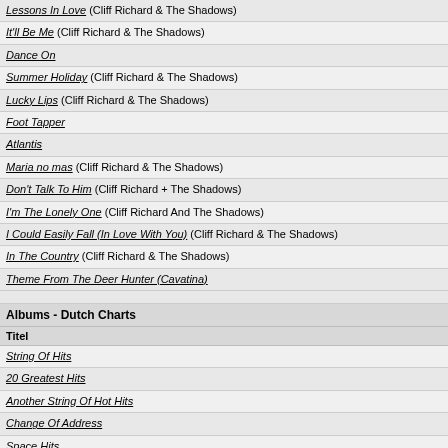Lessons In Love (Cliff Richard & The Shadows)
It'll Be Me (Cliff Richard & The Shadows)
Dance On
Summer Holiday (Cliff Richard & The Shadows)
Lucky Lips (Cliff Richard & The Shadows)
Foot Tapper
Atlantis
Maria no mas (Cliff Richard & The Shadows)
Don't Talk To Him (Cliff Richard + The Shadows)
I'm The Lonely One (Cliff Richard And The Shadows)
I Could Easily Fall (In Love With You) (Cliff Richard & The Shadows)
In The Country (Cliff Richard & The Shadows)
Theme From The Deer Hunter (Cavatina)
Albums - Dutch Charts
| Titel |
| --- |
| String Of Hits |
| 20 Greatest Hits |
| Another String Of Hot Hits |
| Change Of Address |
| Space Hits |
| Moonlight Shadows |
| Guitars In Love |
| The Definitive Guitar Album |
| The Final Collection |
| Reunited - 50th Anniversary Album (Cliff Richard & The Shadows) |